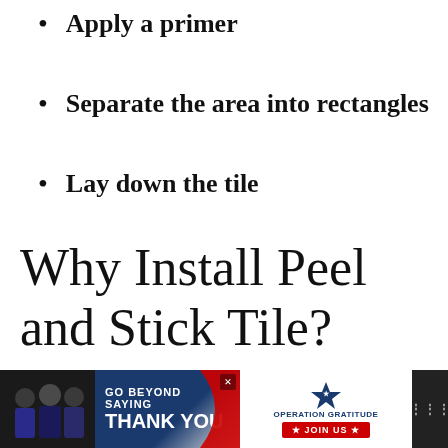Apply a primer
Separate the area into rectangles
Lay down the tile
Why Install Peel and Stick Tile?
[Figure (photo): Advertisement banner: Operation Gratitude 'Go Beyond Saying Thank You' with photo of people and Join Us button]